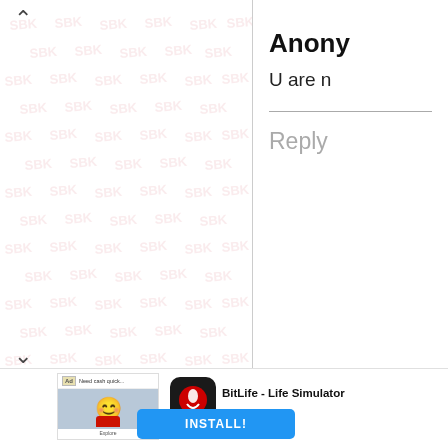[Figure (illustration): Left panel with SDK watermark pattern tiled across white background, with up chevron at top-left and down chevron at bottom-left]
Anony
U are n
Reply
[Figure (screenshot): Ad banner showing BitLife - Life Simulator app advertisement with ad image on left showing emoji with bandana, BitLife logo icon in center, app name text, and INSTALL! button in blue]